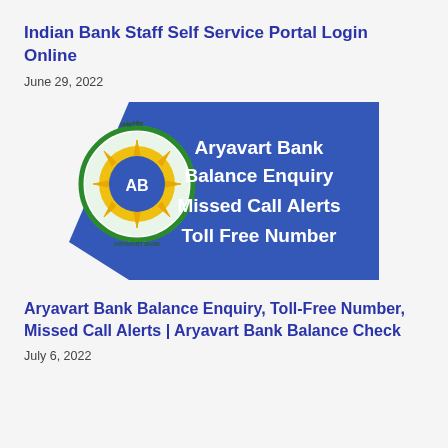Indian Bank Staff Self Service Portal Login Online
June 29, 2022
[Figure (illustration): Aryavart Bank banner image showing the bank logo (circular emblem with AB letters, sun, and text) on a blue trapezoid background with white bold text reading: Aryavart Bank Balance Enquiry Missed Call Alerts Toll Free Number]
Aryavart Bank Balance Enquiry, Toll-Free Number, Missed Call Alerts | Aryavart Bank Balance Check
July 6, 2022